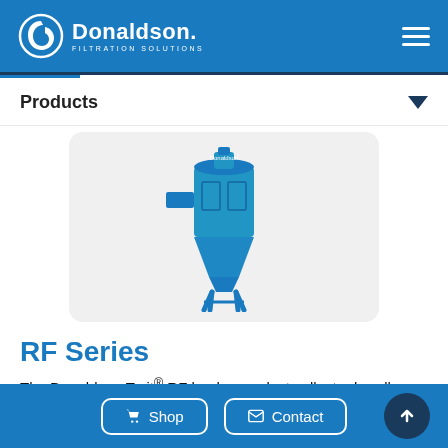Donaldson Filtration Solutions
Products
[Figure (photo): Blue Donaldson Torit RF Series baghouse dust collector unit with conical hopper bottom and support legs]
RF Series
The Donaldson Torit® RF baghouse dust collector handles heavy-dust loads and large volumes of
Shop  Contact